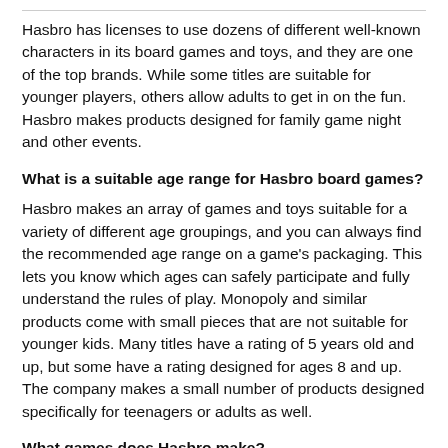Hasbro has licenses to use dozens of different well-known characters in its board games and toys, and they are one of the top brands. While some titles are suitable for younger players, others allow adults to get in on the fun. Hasbro makes products designed for family game night and other events.
What is a suitable age range for Hasbro board games?
Hasbro makes an array of games and toys suitable for a variety of different age groupings, and you can always find the recommended age range on a game's packaging. This lets you know which ages can safely participate and fully understand the rules of play. Monopoly and similar products come with small pieces that are not suitable for younger kids. Many titles have a rating of 5 years old and up, but some have a rating designed for ages 8 and up. The company makes a small number of products designed specifically for teenagers or adults as well.
What games does Hasbro make?
Here are some of the games Hasbro offers: